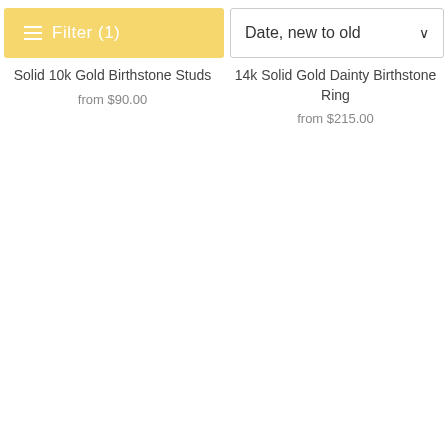[Figure (screenshot): Filter (1) button with yellow/gold background and horizontal lines icon]
[Figure (screenshot): Date, new to old sort dropdown with chevron arrow]
Solid 10k Gold Birthstone Studs
from $90.00
14k Solid Gold Dainty Birthstone Ring
from $215.00